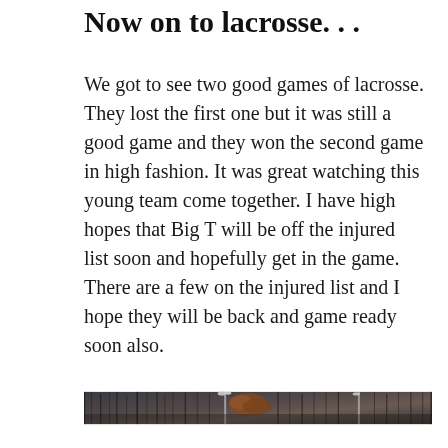Now on to lacrosse. . .
We got to see two good games of lacrosse. They lost the first one but it was still a good game and they won the second game in high fashion. It was great watching this young team come together. I have high hopes that Big T will be off the injured list soon and hopefully get in the game. There are a few on the injured list and I hope they will be back and game ready soon also.
[Figure (photo): Outdoor photo showing trees and lacrosse field light poles against a dark wooded background.]